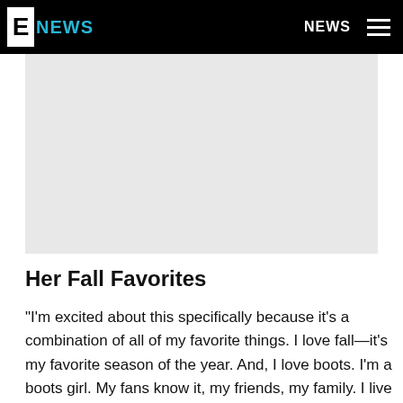E! NEWS | NEWS
[Figure (photo): Gray placeholder image area below the navigation header]
Her Fall Favorites
"I'm excited about this specifically because it's a combination of all of my favorite things. I love fall—it's my favorite season of the year. And, I love boots. I'm a boots girl. My fans know it, my friends, my family. I live in boots, honestly year round. And, I get especially excited about fall season because I love